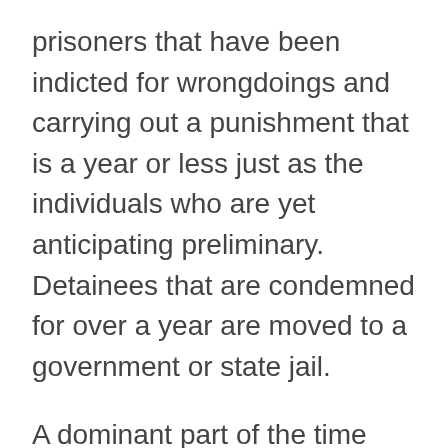prisoners that have been indicted for wrongdoings and carrying out a punishment that is a year or less just as the individuals who are yet anticipating preliminary. Detainees that are condemned for over a year are moved to a government or state jail.
A dominant part of the time detainees at Chesnee City Jail are required to remain in their individual cells that are split between two stories. There is